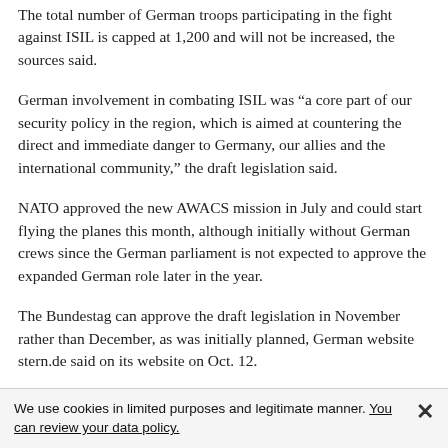The total number of German troops participating in the fight against ISIL is capped at 1,200 and will not be increased, the sources said.
German involvement in combating ISIL was “a core part of our security policy in the region, which is aimed at countering the direct and immediate danger to Germany, our allies and the international community,” the draft legislation said.
NATO approved the new AWACS mission in July and could start flying the planes this month, although initially without German crews since the German parliament is not expected to approve the expanded German role later in the year.
The Bundestag can approve the draft legislation in November rather than December, as was initially planned, German website stern.de said on its website on Oct. 12.
NATO has been operating some AWACS from Konya air base since early 2016 as part of a separate mission approved after Turkey shot down a Russian fighter jet in the border area in November 2015.
We use cookies in limited purposes and legitimate manner. You can review your data policy.